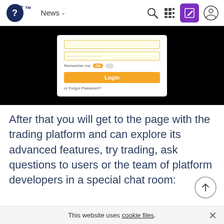News (navigation bar with logo, search, grid, edit, profile icons)
[Figure (screenshot): Screenshot of a login form on dark background showing password field with dots, Remember me toggle set to ON, orange Login button, and 'or Forgot Password?' link]
After that you will get to the page with the trading platform and can explore its advanced features, try trading, ask questions to users or the team of platform developers in a special chat room:
This website uses cookie files.